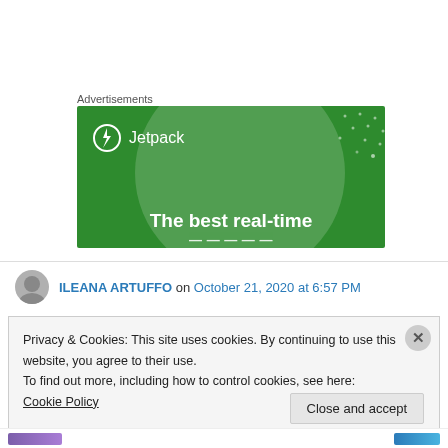Advertisements
[Figure (screenshot): Jetpack advertisement banner on green background with text 'The best real-time']
ILEANA ARTUFFO on October 21, 2020 at 6:57 PM
Privacy & Cookies: This site uses cookies. By continuing to use this website, you agree to their use.
To find out more, including how to control cookies, see here: Cookie Policy
Close and accept